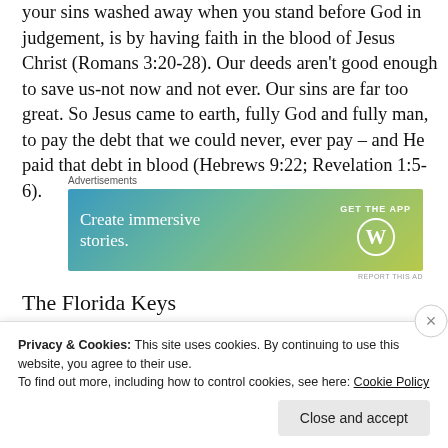your sins washed away when you stand before God in judgement, is by having faith in the blood of Jesus Christ (Romans 3:20-28). Our deeds aren't good enough to save us-not now and not ever. Our sins are far too great. So Jesus came to earth, fully God and fully man, to pay the debt that we could never, ever pay – and He paid that debt in blood (Hebrews 9:22; Revelation 1:5-6).
[Figure (other): Advertisement banner for WordPress app with gradient background (blue to green-yellow). Text reads 'Create immersive stories.' with 'GET THE APP' and WordPress logo on right.]
The Florida Keys
Privacy & Cookies: This site uses cookies. By continuing to use this website, you agree to their use. To find out more, including how to control cookies, see here: Cookie Policy